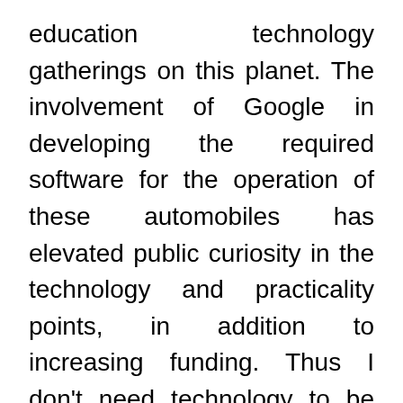education technology gatherings on this planet. The involvement of Google in developing the required software for the operation of these automobiles has elevated public curiosity in the technology and practicality points, in addition to increasing funding. Thus I don't need technology to be invisible at all, particularly not in schools.
Not only are youngsters becoming hooked on technology equivalent to video video games and mobile phone apps (and Fb, of course) but our